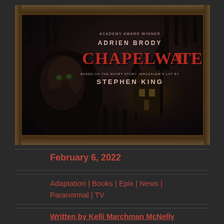[Figure (photo): Movie/TV show poster for Chapelwaite featuring Adrien Brody. Dark horror themed image with a man's face on the left side, creepy hands reaching from the top and bottom edges, a haunted house in the background, and the title 'CHAPELWAITE' in large red letters. Text reads 'Academy Award Winner ADRIEN BRODY', 'CHAPELWAITE', 'Based on the short story Jerusalem's Lot by STEPHEN KING'.]
February 6, 2022
Adaptation | Books | Epix | News | Paranormal | TV
Written by Kelli Marchman McNelly